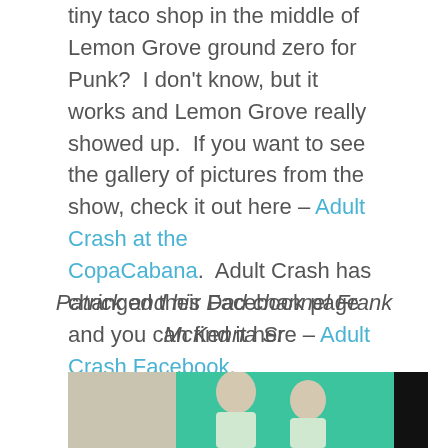tiny taco shop in the middle of Lemon Grove ground zero for Punk?  I don't know, but it works and Lemon Grove really showed up.  If you want to see the gallery of pictures from the show, check it out here – Adult Crash at the CopaCabana.  Adult Crash has changed their Facebook page and you can find it here – Adult Crash Facebook.
Patrick and his Dad channel Frank McKenna Sr
[Figure (photo): Two men in green shirts standing in front of a green background, with a beige/tan wall section on the left and a dark section on the right]